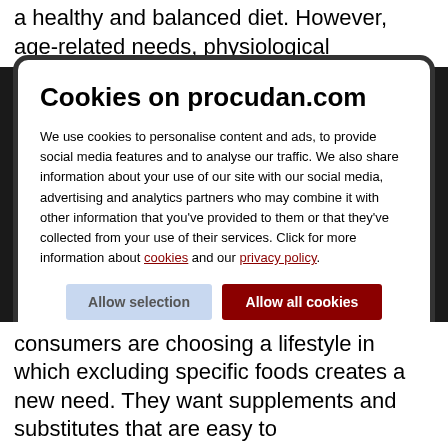a healthy and balanced diet. However, age-related needs, physiological
Cookies on procudan.com
We use cookies to personalise content and ads, to provide social media features and to analyse our traffic. We also share information about your use of our site with our social media, advertising and analytics partners who may combine it with other information that you've provided to them or that they've collected from your use of their services. Click for more information about cookies and our privacy policy.
Necessary  Preferences  Statistics  Marketing  Show details
consumers are choosing a lifestyle in which excluding specific foods creates a new need. They want supplements and substitutes that are easy to